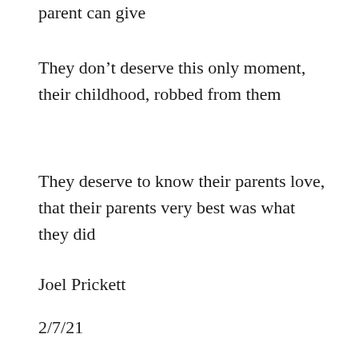parent can give
They don’t deserve this only moment, their childhood, robbed from them
They deserve to know their parents love, that their parents very best was what they did
Joel Prickett
2/7/21